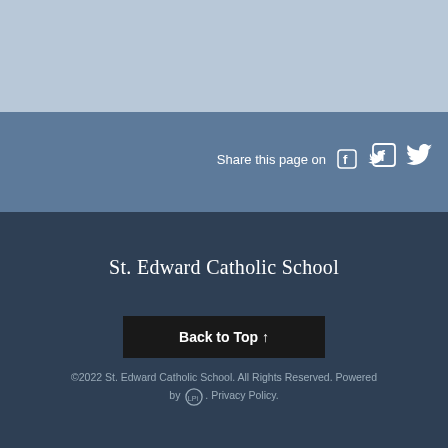[Figure (other): Light blue/grey top banner area]
Share this page on
[Figure (other): Facebook and Twitter social share icons in white]
St. Edward Catholic School
Back to Top ↑
©2022 St. Edward Catholic School. All Rights Reserved. Powered by [LPi logo]. Privacy Policy.